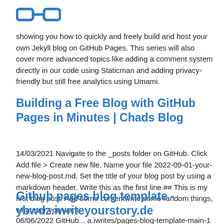[Figure (logo): Blue glasses/spectacles logo icon]
showing you how to quickly and freely build and host your own Jekyll blog on GitHub Pages. This series will also cover more advanced topics like adding a comment system directly in our code using Staticman and adding privacy-friendly but still free analytics using Umami.
Building a Free Blog with GitHub Pages in Minutes | Chads Blog
14/03/2021 Navigate to the _posts folder on GitHub. Click Add file > Create new file. Name your file 2022-09-01-your-new-blog-post.md. Set the title of your blog post by using a markdown header. Write this as the first line ## This is my first blog post. Add some contentwrite some random things, whatever you want.
Github pages blog template - ybwdz.iwriteyourstory.de
06/06/2022 GitHub... a.iwrites/pages-blog-template-main-1 branch...